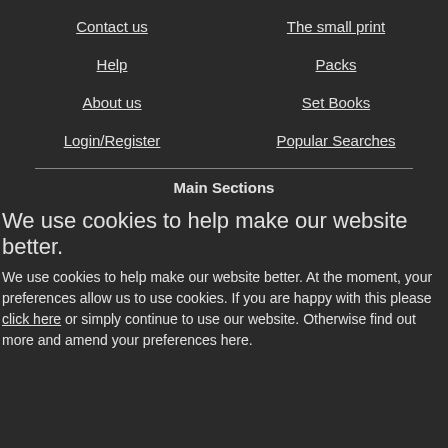Contact us
The small print
Help
Packs
About us
Set Books
Login/Register
Popular Searches
Main Sections
We use cookies to help make our website better.
We use cookies to help make our website better. At the moment, your preferences allow us to use cookies. If you are happy with this please click here or simply continue to use our website. Otherwise find out more and amend your preferences here.